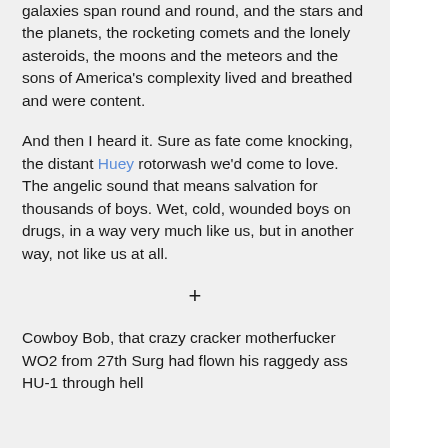galaxies span round and round, and the stars and the planets, the rocketing comets and the lonely asteroids, the moons and the meteors and the sons of America's complexity lived and breathed and were content.
And then I heard it. Sure as fate come knocking, the distant Huey rotorwash we'd come to love. The angelic sound that means salvation for thousands of boys. Wet, cold, wounded boys on drugs, in a way very much like us, but in another way, not like us at all.
+
Cowboy Bob, that crazy cracker motherfucker WO2 from 27th Surg had flown his raggedy ass HU-1 through hell...